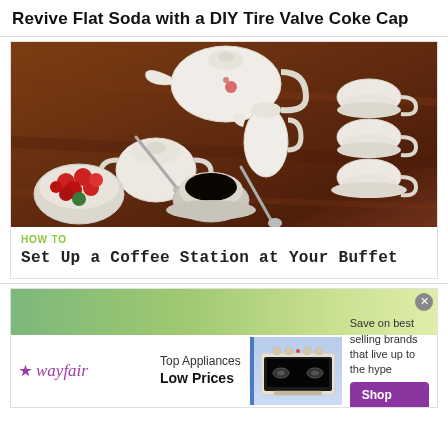Revive Flat Soda with a DIY Tire Valve Coke Cap
[Figure (photo): Overhead view of a white ceramic tea/coffee set including teapot, sugar bowl, creamer, stacked cups with saucers, a bowl of red berries/candies, and a cup of black coffee with a spoon, arranged on a dark wood table.]
HOW TO
Set Up a Coffee Station at Your Buffet
[Figure (photo): Wayfair advertisement showing a kitchen stove appliance. Text reads: Top Appliances Low Prices. Save on best selling brands that live up to the hype. Shop now button.]